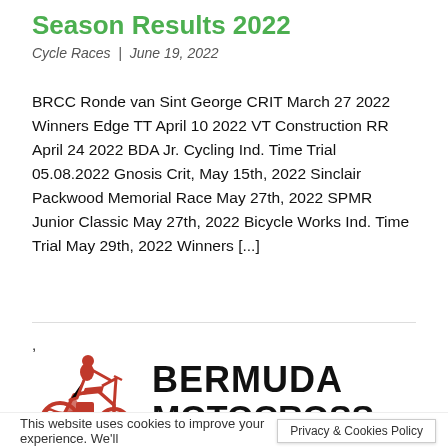Season Results 2022
Cycle Races | June 19, 2022
BRCC Ronde van Sint George CRIT March 27 2022 Winners Edge TT April 10 2022 VT Construction RR April 24 2022 BDA Jr. Cycling Ind. Time Trial 05.08.2022 Gnosis Crit, May 15th, 2022 Sinclair Packwood Memorial Race May 27th, 2022 SPMR Junior Classic May 27th, 2022 Bicycle Works Ind. Time Trial May 29th, 2022 Winners [...]
[Figure (logo): Bermuda Motocross logo: red dirt bike illustration on the left, bold black text 'BERMUDA' and 'MOTOCROSS' on the right]
This website uses cookies to improve your experience. We'll
Privacy & Cookies Policy